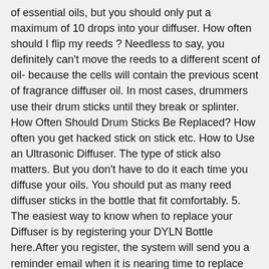of essential oils, but you should only put a maximum of 10 drops into your diffuser. How often should I flip my reeds ? Needless to say, you definitely can't move the reeds to a different scent of oil- because the cells will contain the previous scent of fragrance diffuser oil. In most cases, drummers use their drum sticks until they break or splinter. How Often Should Drum Sticks Be Replaced? How often you get hacked stick on stick etc. How to Use an Ultrasonic Diffuser. The type of stick also matters. But you don't have to do it each time you diffuse your oils. You should put as many reed diffuser sticks in the bottle that fit comfortably. 5. The easiest way to know when to replace your Diffuser is by registering your DYLN Bottle here.After you register, the system will send you a reminder email when it is nearing time to replace your Diffuser. For example, if you have access to a 15-minute timer, you can put the diffuser on while you're in the shower. As the reeds sit in the fragrance, the carrier oil travel up the sticks, taking the fragrance with it so that the scent gently evaporates into the room. Oil and water do not mix. If you use a refill or new oil you must use new reeds. For our 2 oz and 4 oz size reed diffusers, put 6-8 sticks. Use a tongue...